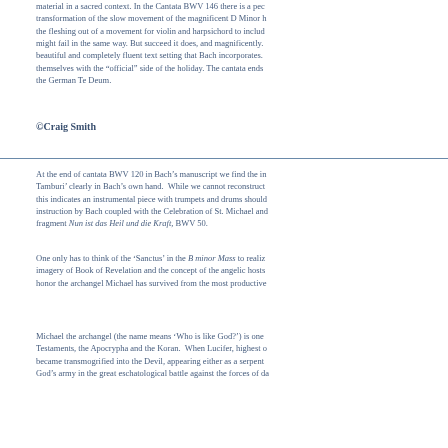material in a sacred context. In the Cantata BWV 146 there is a peculiar transformation of the slow movement of the magnificent D Minor harpsichord concerto, the fleshing out of a movement for violin and harpsichord to include voices and orchestral parts might fail in the same way. But succeed it does, and magnificently. It is because of the beautiful and completely fluent text setting that Bach incorporates. People concerned themselves with the "official" side of the holiday. The cantata ends with a setting of the German Te Deum.
©Craig Smith
At the end of cantata BWV 120 in Bach's manuscript we find the inscription 'Tamburi' clearly in Bach's own hand.  While we cannot reconstruct exactly what this indicates an instrumental piece with trumpets and drums should precede it. This instruction by Bach coupled with the Celebration of St. Michael and the choral fragment Nun ist das Heil und die Kraft, BWV 50.
One only has to think of the 'Sanctus' in the B minor Mass to realize what the imagery of Book of Revelation and the concept of the angelic hosts means to Bach. To honor the archangel Michael has survived from the most productive
Michael the archangel (the name means 'Who is like God?') is one of both Testaments, the Apocrypha and the Koran.  When Lucifer, highest of all the angels, became transmogrified into the Devil, appearing either as a serpent or a dragon, God's army in the great eschatological battle against the forces of da